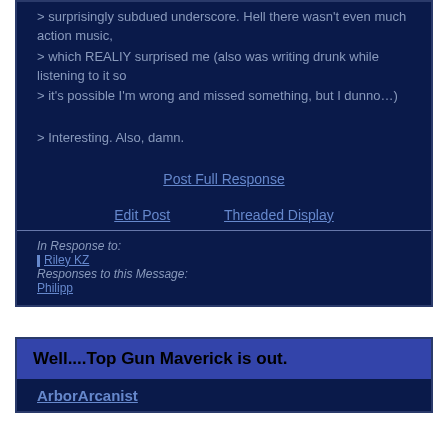> surprisingly subdued underscore. Hell there wasn't even much action music,
> which REALIY surprised me (also was writing drunk while listening to it so
> it's possible I'm wrong and missed something, but I dunno…)
> Interesting. Also, damn.
Post Full Response
Edit Post    Threaded Display
In Response to:
Riley KZ
Responses to this Message:
Philipp
Well....Top Gun Maverick is out.
ArborArcanist